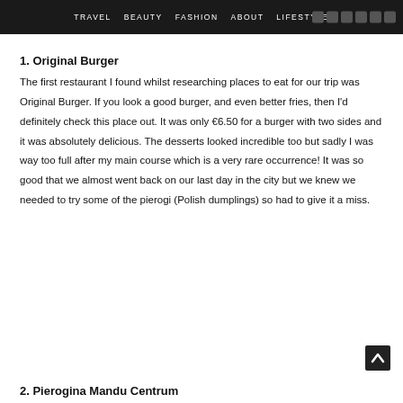TRAVEL  BEAUTY  FASHION  ABOUT  LIFESTYLE
1. Original Burger
The first restaurant I found whilst researching places to eat for our trip was Original Burger. If you look a good burger, and even better fries, then I'd definitely check this place out. It was only €6.50 for a burger with two sides and it was absolutely delicious. The desserts looked incredible too but sadly I was way too full after my main course which is a very rare occurrence! It was so good that we almost went back on our last day in the city but we knew we needed to try some of the pierogi (Polish dumplings) so had to give it a miss.
2. Pierogina Mandu Centrum